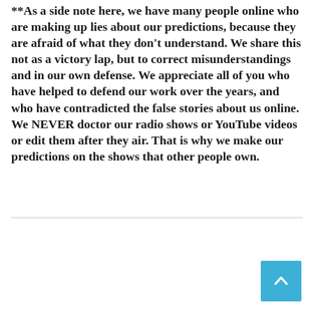**As a side note here, we have many people online who are making up lies about our predictions, because they are afraid of what they don't understand. We share this not as a victory lap, but to correct misunderstandings and in our own defense. We appreciate all of you who have helped to defend our work over the years, and who have contradicted the false stories about us online. We NEVER doctor our radio shows or YouTube videos or edit them after they air. That is why we make our predictions on the shows that other people own.
[Figure (other): Scroll-to-top button with upward chevron arrow, light blue square button in bottom-right corner]